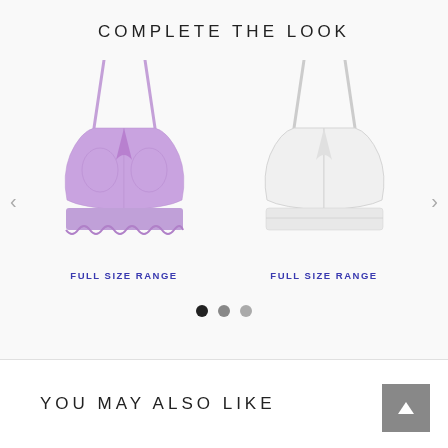COMPLETE THE LOOK
[Figure (photo): Purple lace triangle bralette on white background]
FULL SIZE RANGE
[Figure (photo): White triangle bralette on white background]
FULL SIZE RANGE
YOU MAY ALSO LIKE